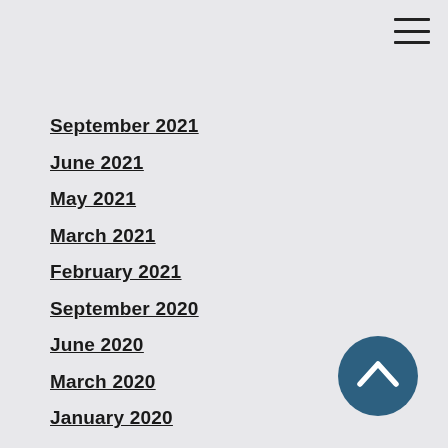September 2021
June 2021
May 2021
March 2021
February 2021
September 2020
June 2020
March 2020
January 2020
October 2019
September 2019
August 2019
May 2019
March 2019
February 2019
January 2019
[Figure (illustration): Scroll-to-top circular button with upward chevron arrow, dark blue/teal color]